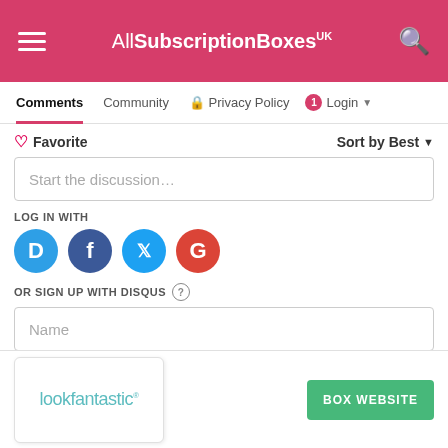AllSubscriptionBoxes UK
Comments | Community | Privacy Policy | Login
Favorite | Sort by Best
Start the discussion...
LOG IN WITH
[Figure (infographic): Social login icons: Disqus (blue D), Facebook (dark blue f), Twitter (light blue bird), Google (red G)]
OR SIGN UP WITH DISQUS ?
Name
[Figure (logo): lookfantastic logo in teal/turquoise color on white card]
BOX WEBSITE